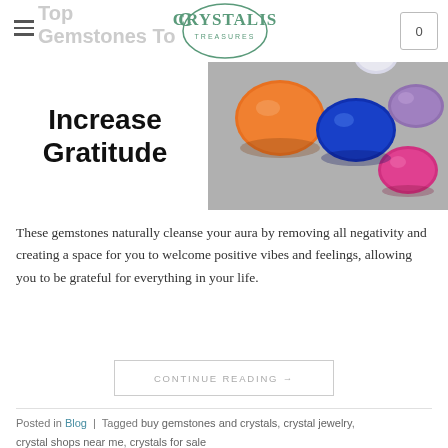Top Gemstones To
[Figure (logo): Crystalis Treasures logo — circular green line art with serif lettering CRYSTALIS above TREASURES]
Increase Gratitude
[Figure (photo): Close-up photo of multiple colorful faceted gemstones including orange, blue, purple, pink and white stones on a grey surface]
These gemstones naturally cleanse your aura by removing all negativity and creating a space for you to welcome positive vibes and feelings, allowing you to be grateful for everything in your life.
CONTINUE READING →
Posted in Blog | Tagged buy gemstones and crystals, crystal jewelry, crystal shops near me, crystals for sale